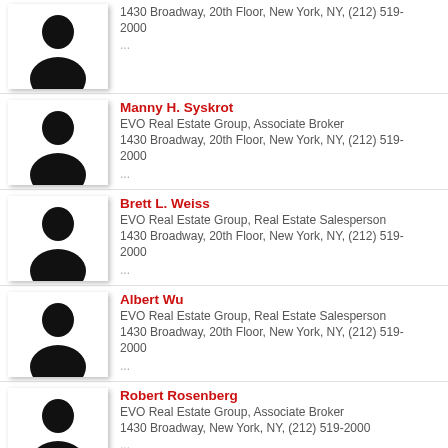1430 Broadway, 20th Floor, New York, NY, (212) 519-2000
...
Manny H. Syskrot
EVO Real Estate Group, Associate Broker
1430 Broadway, 20th Floor, New York, NY, (212) 519-2000
...
Brett L. Weiss
EVO Real Estate Group, Real Estate Salesperson
1430 Broadway, 20th Floor, New York, NY, (212) 519-2000
...
Albert Wu
EVO Real Estate Group, Real Estate Salesperson
1430 Broadway, 20th Floor, New York, NY, (212) 519-2000
...
Robert Rosenberg
EVO Real Estate Group, Associate Broker
1430 Broadway, New York, NY, (212) 519-2000
...
Robert Frischman
EVO Real Estate Group, Corporate Broker